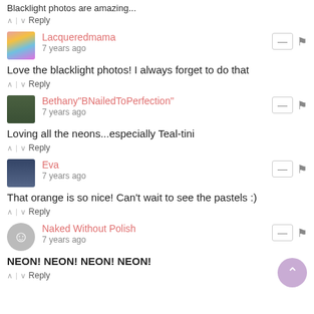Blacklight photos are amazing...
∧ | ∨  Reply
Lacqueredmama
7 years ago
Love the blacklight photos! I always forget to do that
∧ | ∨  Reply
Bethany"BNailedToPerfection"
7 years ago
Loving all the neons...especially Teal-tini
∧ | ∨  Reply
Eva
7 years ago
That orange is so nice! Can't wait to see the pastels :)
∧ | ∨  Reply
Naked Without Polish
7 years ago
NEON! NEON! NEON! NEON!
∧ | ∨  Reply